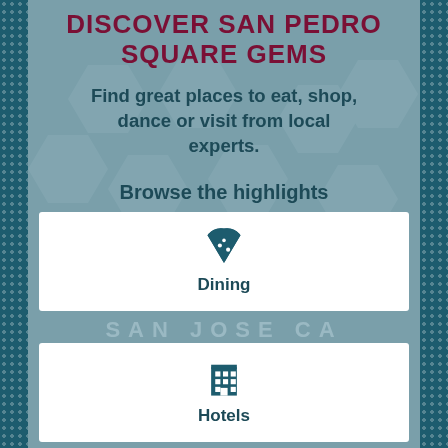DISCOVER SAN PEDRO SQUARE GEMS
Find great places to eat, shop, dance or visit from local experts.
Browse the highlights
[Figure (illustration): Pizza slice icon representing Dining category]
Dining
[Figure (illustration): Building/hotel icon representing Hotels category]
Hotels